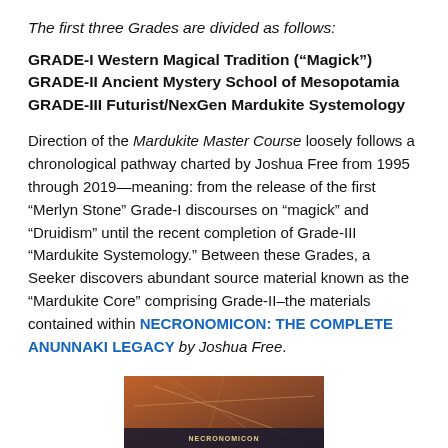The first three Grades are divided as follows:
GRADE-I Western Magical Tradition (“Magick”)
GRADE-II Ancient Mystery School of Mesopotamia
GRADE-III Futurist/NexGen Mardukite Systemology
Direction of the Mardukite Master Course loosely follows a chronological pathway charted by Joshua Free from 1995 through 2019—meaning: from the release of the first “Merlyn Stone” Grade-I discourses on “magick” and “Druidism” until the recent completion of Grade-III “Mardukite Systemology.” Between these Grades, a Seeker discovers abundant source material known as the “Mardukite Core” comprising Grade-II–the materials contained within NECRONOMICON: THE COMPLETE ANUNNAKI LEGACY by Joshua Free.
[Figure (photo): Book cover image at the bottom of the page showing a colorful book cover]